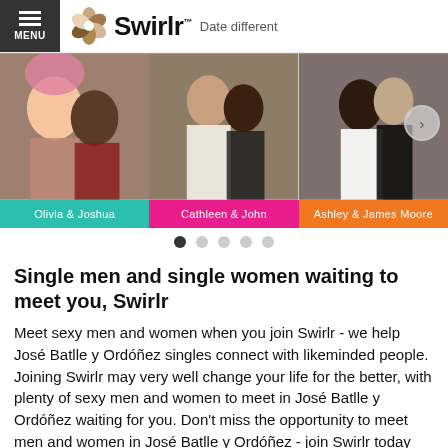MENU | Swirlr™ Date different
[Figure (photo): Photo carousel showing three couples: Olivia & Joshua (woman with pink hair, man smiling), Cathleen & John (man and woman at event), Ashley & James Moore (bride and groom). Navigation dots below the carousel.]
Single men and single women waiting to meet you, Swirlr
Meet sexy men and women when you join Swirlr - we help José Batlle y Ordóñez singles connect with likeminded people. Joining Swirlr may very well change your life for the better, with plenty of sexy men and women to meet in José Batlle y Ordóñez waiting for you. Don't miss the opportunity to meet men and women in José Batlle y Ordóñez - join Swirlr today and get on the pathway to a happier life. Love is a splendid thing, and so is meeting José